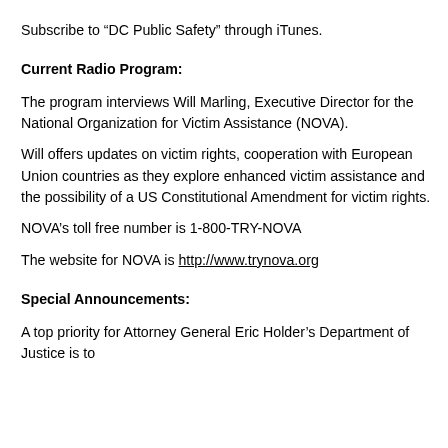Subscribe to “DC Public Safety” through iTunes.
Current Radio Program:
The program interviews Will Marling, Executive Director for the National Organization for Victim Assistance (NOVA).
Will offers updates on victim rights, cooperation with European Union countries as they explore enhanced victim assistance and the possibility of a US Constitutional Amendment for victim rights.
NOVA’s toll free number is 1-800-TRY-NOVA
The website for NOVA is http://www.trynova.org
Special Announcements:
A top priority for Attorney General Eric Holder’s Department of Justice is to